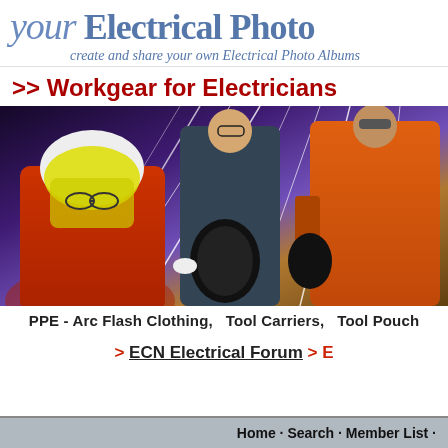your Electrical Photo - create and share your own Electrical Photo Albums
>> Workgear for Electricians
[Figure (photo): Three workers in electrical PPE/workgear standing against a sparkling electric background. Left: person in red suit with white helmet and yellow visor. Center: person in dark blue coverall holding a large black arc flash hood. Right: person in orange arc flash suit.]
PPE - Arc Flash Clothing,   Tool Carriers,   Tool Pouch
> ECN Electrical Forum > E
Home · Search · Member List ·